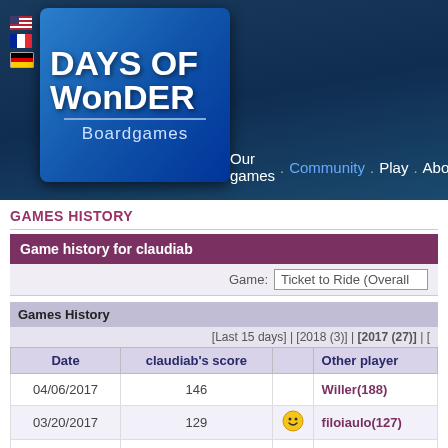[Figure (logo): Days of Wonder Boardgames logo with flag icons (US, France, Germany) and navigation bar with Our games, Community, Play, About]
GAMES HISTORY
Game history for claudiab
Game: Ticket to Ride (Overall
| [Last 15 days] | [2018 (3)] | [2017 (27)] | [ | Date | claudiab's score |  | Other player |
| --- | --- | --- | --- | --- |
| 04/06/2017 | 146 |  | Willer(188) |
| 03/20/2017 | 129 | 😊 | filoiaulo(127) |
| 03/03/2017 | 160 |  | Cosmopolita |
| 03/02/2017 | 137 |  | QueenVizzy( |